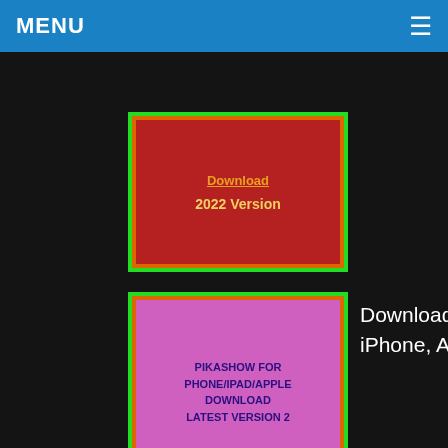MENU ≡
[Figure (screenshot): Dark background section showing two thumbnail images with green borders. First thumbnail has red background with orange/gold text 'Download' and '2022 Version'. Second thumbnail has pink/magenta background with dark blue bold text 'PIKASHOW FOR PHONE/IPAD/APPLE DOWNLOAD LATEST VERSION 2'. Next to second thumbnail white text reads 'Download Pikashow for iOS, iPhone, Apple — …']
TechUpdates365 Copyright © 2022.
[Figure (screenshot): Advertisement section with dropdown chevron, 'call your salon!' text, HC logo (yellow square with black HC letters), blue diamond navigation icon, and text 'Book a Same Day Appointment']